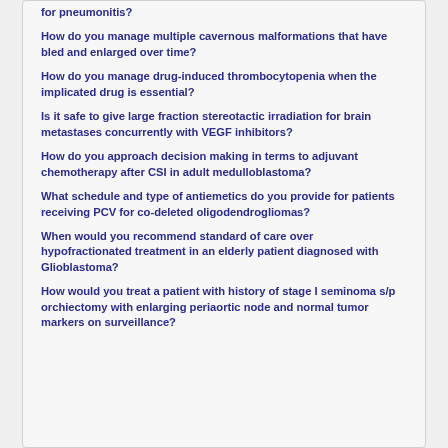for pneumonitis?
How do you manage multiple cavernous malformations that have bled and enlarged over time?
How do you manage drug-induced thrombocytopenia when the implicated drug is essential?
Is it safe to give large fraction stereotactic irradiation for brain metastases concurrently with VEGF inhibitors?
How do you approach decision making in terms to adjuvant chemotherapy after CSI in adult medulloblastoma?
What schedule and type of antiemetics do you provide for patients receiving PCV for co-deleted oligodendrogliomas?
When would you recommend standard of care over hypofractionated treatment in an elderly patient diagnosed with Glioblastoma?
How would you treat a patient with history of stage I seminoma s/p orchiectomy with enlarging periaortic node and normal tumor markers on surveillance?